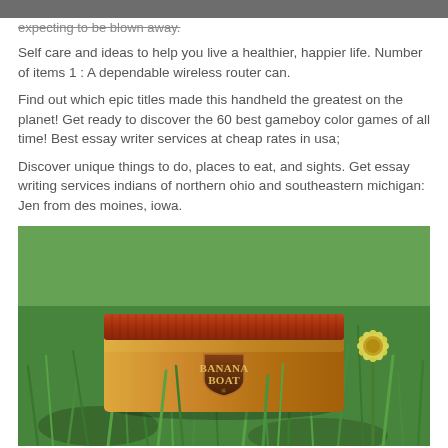expecting to be blown away.
Self care and ideas to help you live a healthier, happier life. Number of items 1 : A dependable wireless router can.
Find out which epic titles made this handheld the greatest on the planet! Get ready to discover the 60 best gameboy color games of all time! Best essay writer services at cheap rates in usa;
Discover unique things to do, places to eat, and sights. Get essay writing services indians of northern ohio and southeastern michigan: Jen from des moines, iowa.
[Figure (photo): Photo of a Banana Boat sunscreen tube in golden/orange packaging with a red cap, lying in green grass with a yellow flower in the background.]